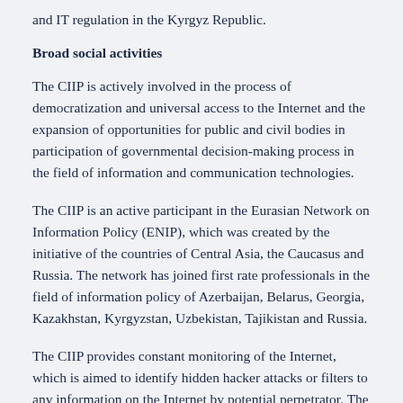and IT regulation in the Kyrgyz Republic.
Broad social activities
The CIIP is actively involved in the process of democratization and universal access to the Internet and the expansion of opportunities for public and civil bodies in participation of governmental decision-making process in the field of information and communication technologies.
The CIIP is an active participant in the Eurasian Network on Information Policy (ENIP), which was created by the initiative of the countries of Central Asia, the Caucasus and Russia. The network has joined first rate professionals in the field of information policy of Azerbaijan, Belarus, Georgia, Kazakhstan, Kyrgyzstan, Uzbekistan, Tajikistan and Russia.
The CIIP provides constant monitoring of the Internet, which is aimed to identify hidden hacker attacks or filters to any information on the Internet by potential perpetrator. The main purpose of monitoring is to provide access to information for...